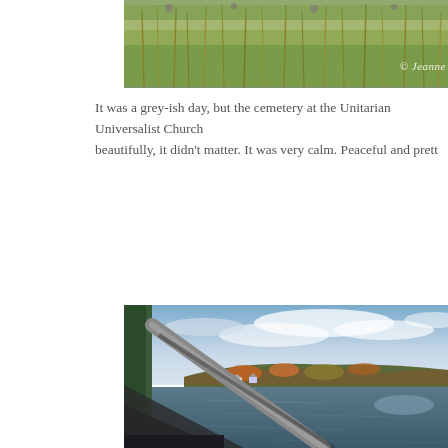[Figure (photo): Grassy field with tall grasses and wildflowers, grey-ish day, with a © Jeanne watermark in the top right corner]
It was a grey-ish day, but the cemetery at the Unitarian Universalist Church beautifully, it didn't matter. It was very calm. Peaceful and prett
[Figure (photo): View from a bridge railing over a calm river, with autumn foliage on hills in the background, cloudy blue sky, and small houses visible along the far shore]